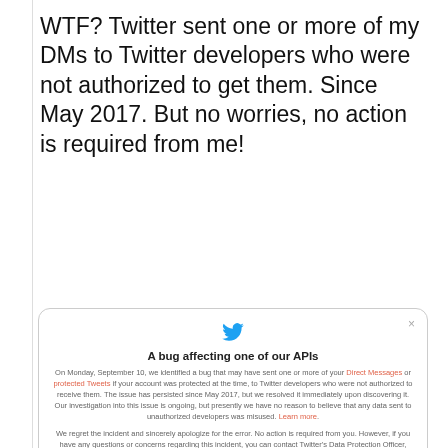WTF? Twitter sent one or more of my DMs to Twitter developers who were not authorized to get them. Since May 2017. But no worries, no action is required from me!
[Figure (screenshot): Twitter notification card: 'A bug affecting one of our APIs'. Text explains that on Monday September 10, a bug may have sent one or more Direct Messages or protected Tweets if the account was protected at the time, to Twitter developers not authorized to receive them. The issue persisted since May 2017, but was resolved immediately upon discovering it. No reason to believe data was misused. Learn more link. Second paragraph apologizes and says no action is required. A 'Got it' button at the bottom.]